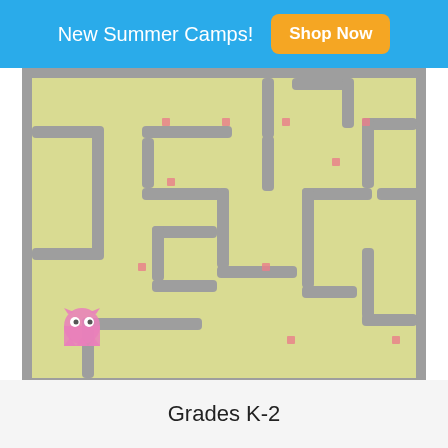New Summer Camps! Shop Now
[Figure (screenshot): A Pacman-style maze game screenshot with yellow-green background, gray walls forming corridors, small pink/red dots scattered around, and a pink cat-like ghost character on the left side.]
How to Make Pacman on Scratch
Scratch
Grades K-2